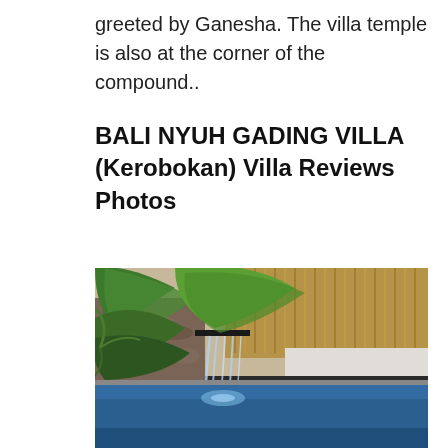greeted by Ganesha. The villa temple is also at the corner of the compound..
BALI NYUH GADING VILLA (Kerobokan) Villa Reviews Photos
[Figure (photo): Outdoor swimming pool with a stone water feature wall covered in tropical green plants and large leaves, with water cascading into a blue pool. Background shows a bamboo fence wall and a white rendered wall.]